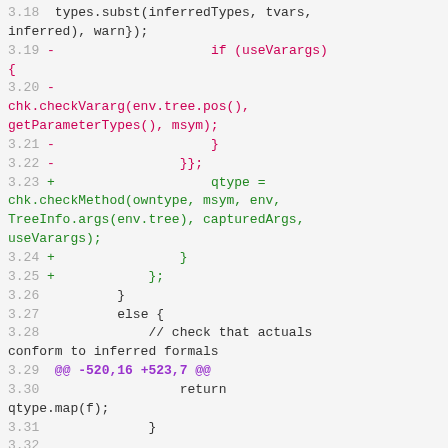3.18  types.subst(inferredTypes, tvars, inferred), warn});
3.19 -                    if (useVarargs) {
3.20 -  chk.checkVararg(env.tree.pos(), getParameterTypes(), msym);
3.21 -                    }
3.22 -                }};
3.23 +                    qtype = chk.checkMethod(owntype, msym, env, TreeInfo.args(env.tree), capturedArgs, useVarargs);
3.24 +                }
3.25 +            };
3.26              }
3.27          else {
3.28              // check that actuals conform to inferred formals
3.29 @@ -520,16 +523,7 @@
3.30                  return qtype.map(f);
3.31              }
3.32
3.33 -          void instantiateReturnType(Type restype, List<Type> inferred, Types types) throws